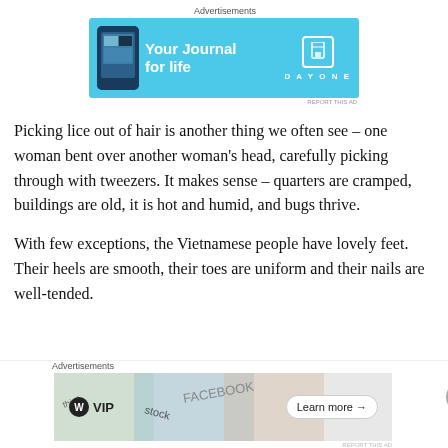[Figure (other): Advertisement banner for DayOne journal app with light blue background, phone graphic on left, 'Your Journal for life' text in white, and DayOne logo on right]
Picking lice out of hair is another thing we often see – one woman bent over another woman's head, carefully picking through with tweezers. It makes sense – quarters are cramped, buildings are old, it is hot and humid, and bugs thrive.
With few exceptions, the Vietnamese people have lovely feet. Their heels are smooth, their toes are uniform and their nails are well-tended.
[Figure (other): Advertisement banner for WordPress VIP with map/cards background graphic, WordPress VIP logo, and 'Learn more' button]